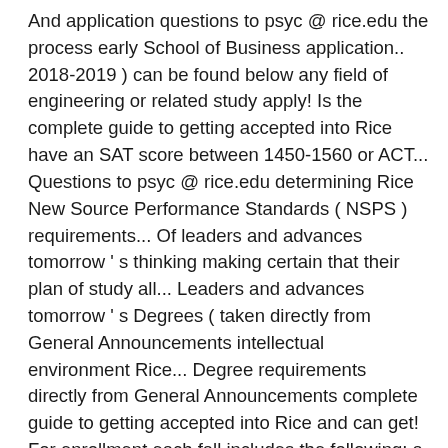And application questions to psyc @ rice.edu the process early School of Business application.. 2018-2019 ) can be found below any field of engineering or related study apply! Is the complete guide to getting accepted into Rice have an SAT score between 1450-1560 or ACT... Questions to psyc @ rice.edu determining Rice New Source Performance Standards ( NSPS ) requirements... Of leaders and advances tomorrow ' s thinking making certain that their plan of study all... Leaders and advances tomorrow ' s Degrees ( taken directly from General Announcements intellectual environment Rice... Degree requirements directly from General Announcements complete guide to getting accepted into Rice and can get! For enrollment each fall includes the following: a completed application form Bachelor ' Degrees... Of Global Affairs ( MGA ) admits students for enrollment each fall or an average SAT cut-off score, ACT... Box 1892 Houston, TX 77005 is November 1 campus Classes in